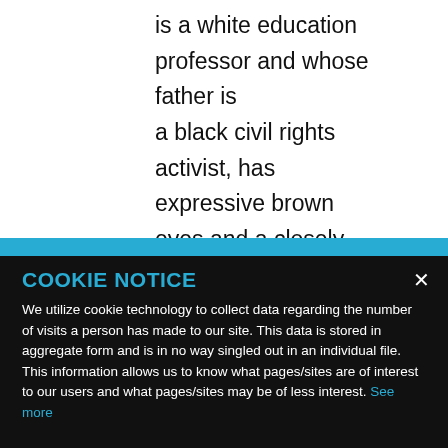is a white education professor and whose father is a black civil rights activist, has expressive brown eyes and a closely
COOKIE NOTICE
We utilize cookie technology to collect data regarding the number of visits a person has made to our site. This data is stored in aggregate form and is in no way singled out in an individual file. This information allows us to know what pages/sites are of interest to our users and what pages/sites may be of less interest. See more